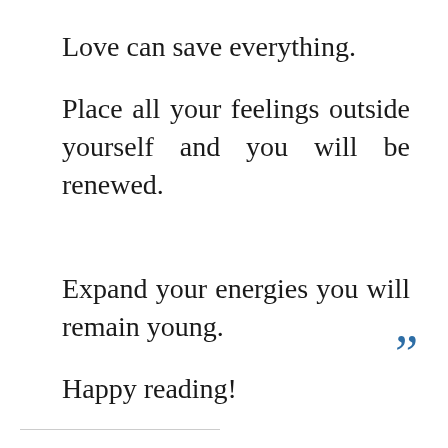Love can save everything.
Place all your feelings outside yourself and you will be renewed.
Expand your energies you will remain young.
Happy reading!